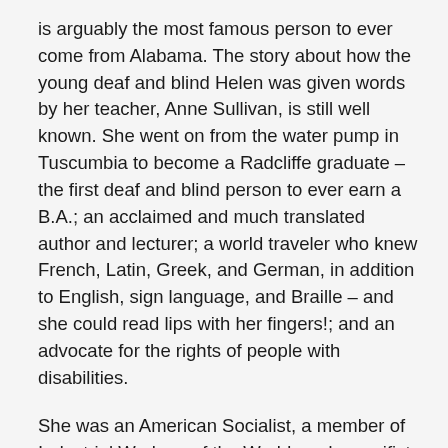is arguably the most famous person to ever come from Alabama. The story about how the young deaf and blind Helen was given words by her teacher, Anne Sullivan, is still well known. She went on from the water pump in Tuscumbia to become a Radcliffe graduate – the first deaf and blind person to ever earn a B.A.; an acclaimed and much translated author and lecturer; a world traveler who knew French, Latin, Greek, and German, in addition to English, sign language, and Braille – and she could read lips with her fingers!; and an advocate for the rights of people with disabilities.
She was an American Socialist, a member of Industrial Workers of the World, and a pacifist who visited Hiroshima before the bomb and again afterward to lament the harm mankind is capable of perpetrating. We know that she fell in love with and planned to marry a man who served briefly as secretary for her and Sullivan and that the planned elopement never occurred. This was in a time when people with disabilities were most often discouraged from having